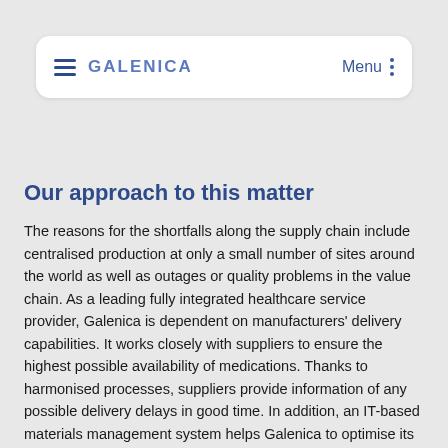GALENICA   Menu
Our approach to this matter
The reasons for the shortfalls along the supply chain include centralised production at only a small number of sites around the world as well as outages or quality problems in the value chain. As a leading fully integrated healthcare service provider, Galenica is dependent on manufacturers' delivery capabilities. It works closely with suppliers to ensure the highest possible availability of medications. Thanks to harmonised processes, suppliers provide information of any possible delivery delays in good time. In addition, an IT-based materials management system helps Galenica to optimise its procurement and logistics processes. The current COVID-19 pandemic has additionally heightened the relevance of reliable procurement and supplies